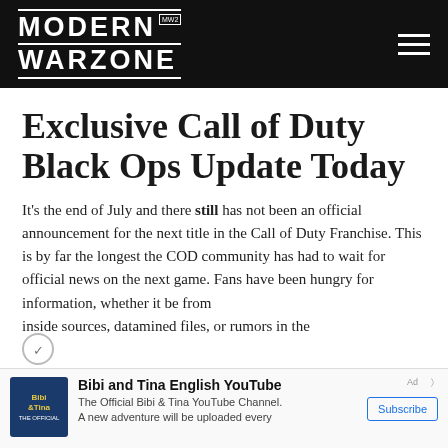MODERN WARZONE
Exclusive Call of Duty Black Ops Update Today
It's the end of July and there still has not been an official announcement for the next title in the Call of Duty Franchise. This is by far the longest the COD community has had to wait for official news on the next game. Fans have been hungry for information, whether it be from inside sources, datamined files, or rumors in the
[Figure (other): Advertisement banner for Bibi and Tina English YouTube channel with thumbnail showing Bibi&Tina logo, channel title, description text, and Subscribe button]